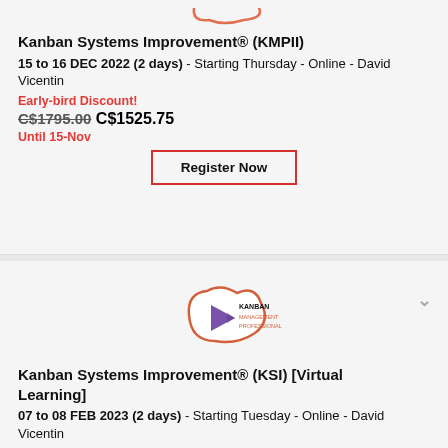[Figure (logo): Kanban Management Professional logo with orange blob outline — partial, cropped at top]
Kanban Systems Improvement® (KMPII)
15 to 16 DEC 2022 (2 days) - Starting Thursday - Online - David Vicentin
Early-bird Discount!
C$1795.00 C$1525.75
Until 15-Nov
Register Now
[Figure (logo): Kanban Management Professional badge logo with purple triangle icon inside orange blob outline]
Kanban Systems Improvement® (KSI) [Virtual Learning]
07 to 08 FEB 2023 (2 days) - Starting Tuesday - Online - David Vicentin
Early-bird Discount!
C$1795.00 C$1525.75
Until 07-Jan
Register Now (partial)